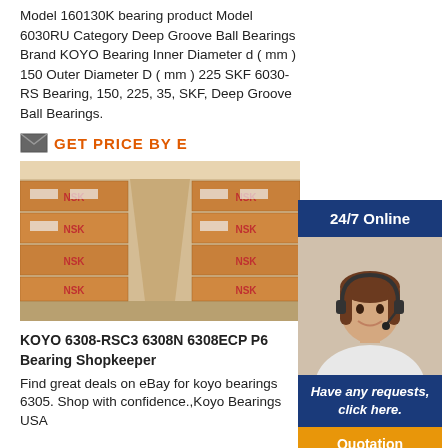Model 160130K bearing product Model 6030RU Category Deep Groove Ball Bearings Brand KOYO Bearing Inner Diameter d ( mm ) 150 Outer Diameter D ( mm ) 225 SKF 6030-RS Bearing, 150, 225, 35, SKF, Deep Groove Ball Bearings.
[Figure (other): Email/envelope icon with orange GET PRICE BY E text]
[Figure (photo): Warehouse stacked with brown NSK bearing boxes in aisles]
KOYO 6308-RSC3 6308N 6308ECP P6 Bearing Shopkeeper
Find great deals on eBay for koyo bearings 6305. Shop with confidence.,Koyo Bearings USA
[Figure (infographic): 24/7 Online banner with customer service agent photo, Have any requests click here text, and Quotation button]